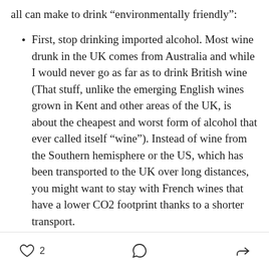all can make to drink “environmentally friendly”:
First, stop drinking imported alcohol. Most wine drunk in the UK comes from Australia and while I would never go as far as to drink British wine (That stuff, unlike the emerging English wines grown in Kent and other areas of the UK, is about the cheapest and worst form of alcohol that ever called itself “wine”). Instead of wine from the Southern hemisphere or the US, which has been transported to the UK over long distances, you might want to stay with French wines that have a lower CO2 footprint thanks to a shorter transport.
2